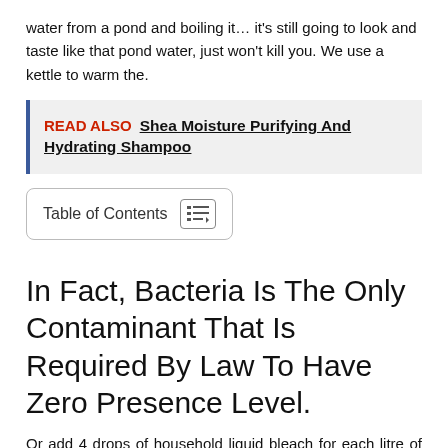water from a pond and boiling it… it's still going to look and taste like that pond water, just won't kill you. We use a kettle to warm the.
READ ALSO  Shea Moisture Purifying And Hydrating Shampoo
Table of Contents
In Fact, Bacteria Is The Only Contaminant That Is Required By Law To Have Zero Presence Level.
Or add 4 drops of household liquid bleach for each litre of water, stir, and let it stand for 30 minutes. When you boil water, it will kill any bacteria present in the tap water. Also, is it necessary to boil water for 5 minutes, or will something like 30 seconds boiling time work just